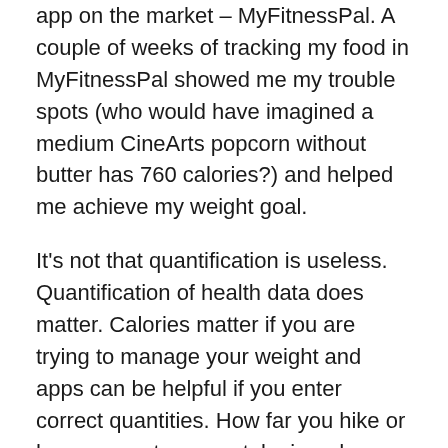app on the market – MyFitnessPal. A couple of weeks of tracking my food in MyFitnessPal showed me my trouble spots (who would have imagined a medium CineArts popcorn without butter has 760 calories?) and helped me achieve my weight goal.
It's not that quantification is useless. Quantification of health data does matter. Calories matter if you are trying to manage your weight and apps can be helpful if you enter correct quantities. How far you hike or how many steps you take in a day absolutely matters if you are counting on that activity as part of your exercise and fitness plan. The question is if regular use of the device adds enough more quantification data than you have without to justify constant use – so far for me the answer is no but I'm curious what others think about this.